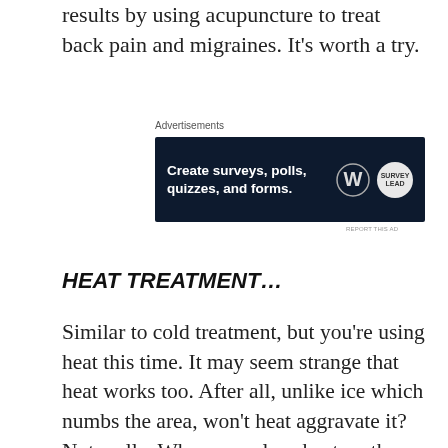results by using acupuncture to treat back pain and migraines. It's worth a try.
Advertisements
[Figure (other): Advertisement banner for creating surveys, polls, quizzes, and forms with WordPress branding.]
HEAT TREATMENT…
Similar to cold treatment, but you're using heat this time. It may seem strange that heat works too. After all, unlike ice which numbs the area, won't heat aggravate it?
Not really. When you place heat on the affected area, the soft tissues will relax and become less stiff. So, there will be more flexible and you'll be able to move more easily. The heat will also dilate the blood vessels which will help to improve blood circulation.